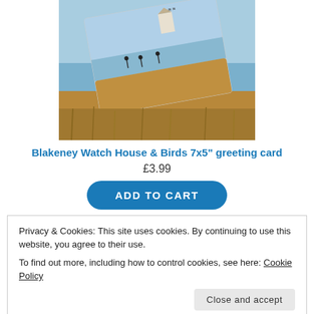[Figure (photo): A greeting card showing Blakeney Watch House and birds over coastal marshland, displayed at a slight angle against a matching coastal landscape background.]
Blakeney Watch House & Birds 7x5" greeting card
£3.99
ADD TO CART
Privacy & Cookies: This site uses cookies. By continuing to use this website, you agree to their use.
To find out more, including how to control cookies, see here: Cookie Policy
Close and accept